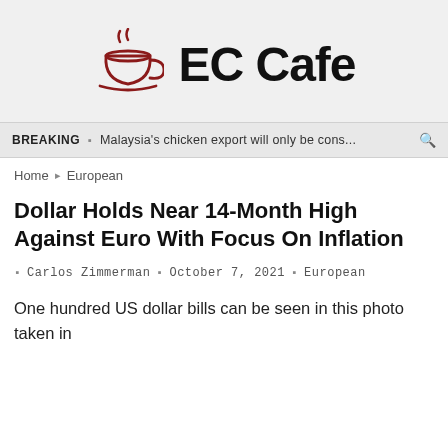[Figure (logo): EC Cafe logo: dark red coffee cup icon with steam, followed by bold black text 'EC Cafe']
BREAKING ■ Malaysia's chicken export will only be cons...
Home ▸ European
Dollar Holds Near 14-Month High Against Euro With Focus On Inflation
Carlos Zimmerman ■ October 7, 2021 ■ European
One hundred US dollar bills can be seen in this photo taken in